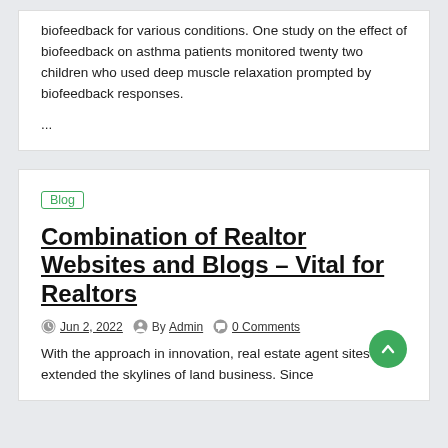biofeedback for various conditions. One study on the effect of biofeedback on asthma patients monitored twenty two children who used deep muscle relaxation prompted by biofeedback responses.
...
Blog
Combination of Realtor Websites and Blogs – Vital for Realtors
Jun 2, 2022   By Admin   0 Comments
With the approach in innovation, real estate agent sites have extended the skylines of land business. Since